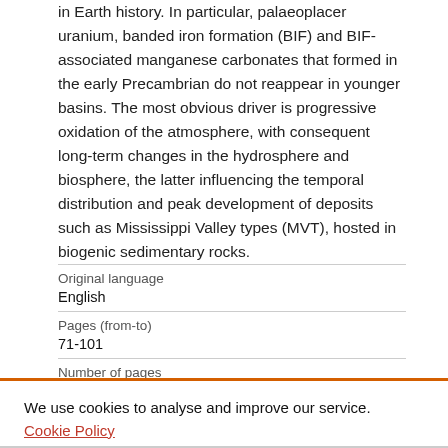in Earth history. In particular, palaeoplacer uranium, banded iron formation (BIF) and BIF-associated manganese carbonates that formed in the early Precambrian do not reappear in younger basins. The most obvious driver is progressive oxidation of the atmosphere, with consequent long-term changes in the hydrosphere and biosphere, the latter influencing the temporal distribution and peak development of deposits such as Mississippi Valley types (MVT), hosted in biogenic sedimentary rocks.
| Original language |  |
| English |  |
| Pages (from-to) |  |
| 71-101 |  |
| Number of pages |  |
We use cookies to analyse and improve our service. Cookie Policy